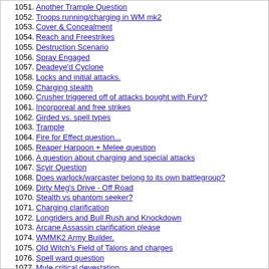1051. Another Trample Question
1052. Troops running/charging in WM mk2
1053. Cover & Concealment
1054. Reach and Freestrikes
1055. Destruction Scenario
1056. Spray Engaged
1057. Deadeye'd Cyclone
1058. Locks and initial attacks.
1059. Charging stealth
1060. Crusher triggered off of attacks bought with Fury?
1061. Incorporeal and free strikes
1062. Girded vs. spell types
1063. Trample
1064. Fire for Effect question...
1065. Reaper Harpoon + Melee question
1066. A question about charging and special attacks
1067. Scyir Question
1068. Does warlock/warcaster belong to its own battlegroup?
1069. Dirty Meg's Drive - Off Road
1070. Stealth vs phantom seeker?
1071. Charging clarification
1072. Longriders and Bull Rush and Knockdown
1073. Arcane Assassin clarification please
1074. WMMK2 Army Builder.
1075. Old Witch's Field of Talons and charges
1076. Spell ward question
1077. Mule critical devestation
1078. Holt's Quick Draw and CRA
1079. SR2010 and solos with no point cost